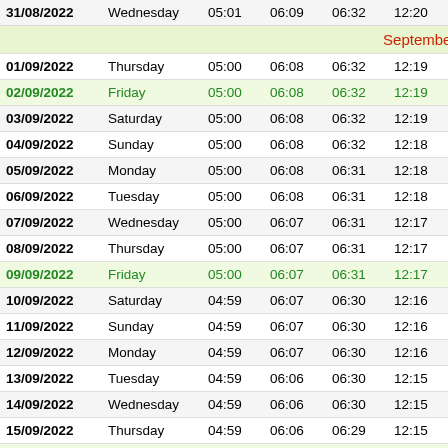| Date | Day | Col3 | Col4 | Col5 | Col6 | Col7 |
| --- | --- | --- | --- | --- | --- | --- |
| 31/08/2022 | Wednesday | 05:01 | 06:09 | 06:32 | 12:20 | 1 |
| September 2022 |  |  |  |  |  |  |
| 01/09/2022 | Thursday | 05:00 | 06:08 | 06:32 | 12:19 | 1 |
| 02/09/2022 | Friday | 05:00 | 06:08 | 06:32 | 12:19 | 1 |
| 03/09/2022 | Saturday | 05:00 | 06:08 | 06:32 | 12:19 | 1 |
| 04/09/2022 | Sunday | 05:00 | 06:08 | 06:32 | 12:18 | 1 |
| 05/09/2022 | Monday | 05:00 | 06:08 | 06:31 | 12:18 | 1 |
| 06/09/2022 | Tuesday | 05:00 | 06:08 | 06:31 | 12:18 | 1 |
| 07/09/2022 | Wednesday | 05:00 | 06:07 | 06:31 | 12:17 | 1 |
| 08/09/2022 | Thursday | 05:00 | 06:07 | 06:31 | 12:17 | 1 |
| 09/09/2022 | Friday | 05:00 | 06:07 | 06:31 | 12:17 | 1 |
| 10/09/2022 | Saturday | 04:59 | 06:07 | 06:30 | 12:16 | 1 |
| 11/09/2022 | Sunday | 04:59 | 06:07 | 06:30 | 12:16 | 1 |
| 12/09/2022 | Monday | 04:59 | 06:07 | 06:30 | 12:16 | 1 |
| 13/09/2022 | Tuesday | 04:59 | 06:06 | 06:30 | 12:15 | 1 |
| 14/09/2022 | Wednesday | 04:59 | 06:06 | 06:30 | 12:15 | 1 |
| 15/09/2022 | Thursday | 04:59 | 06:06 | 06:29 | 12:15 | 1 |
| 16/09/2022 | Friday | 04:59 | 06:06 | 06:29 | 12:14 | 1 |